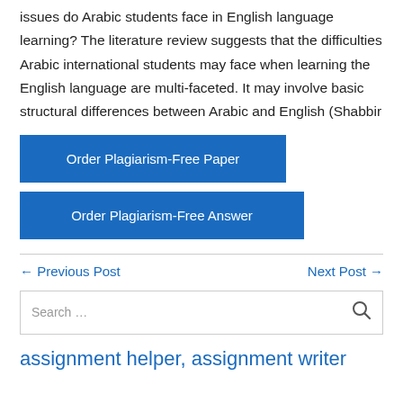issues do Arabic students face in English language learning? The literature review suggests that the difficulties Arabic international students may face when learning the English language are multi-faceted. It may involve basic structural differences between Arabic and English (Shabbir
[Figure (other): Blue button labeled 'Order Plagiarism-Free Paper']
[Figure (other): Blue button labeled 'Order Plagiarism-Free Answer']
← Previous Post
Next Post →
Search …
assignment helper, assignment writer